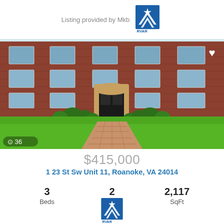[Figure (logo): RVAR logo with blue and white star design, text 'Listing provided by Mkb']
[Figure (photo): Exterior photo of a red brick apartment building with green lawn, brick walkway, shrubs, and black front door. Photo counter shows 36 photos.]
$415,000
1 23 St Sw Unit 11, Roanoke, VA 24014
|  |  |  |
| --- | --- | --- |
| 3 | 2 | 2,117 |
| Beds | Baths | SqFt |
[Figure (logo): RVAR logo (partial), blue and white chevron/star design]